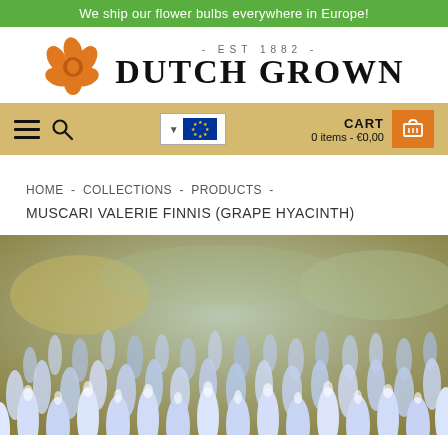We ship our flower bulbs everywhere in Europe!
DUTCH GROWN
CART 0 items - €0,00
HOME - COLLECTIONS - PRODUCTS -
MUSCARI VALERIE FINNIS (GRAPE HYACINTH)
[Figure (photo): Field of pale blue Muscari Valerie Finnis (Grape Hyacinth) flowers in bloom, photographed with a shallow depth of field against a blurred green and golden background.]